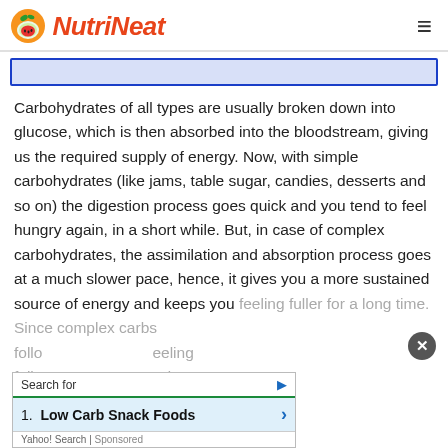NutriNeat
[Figure (other): Blue-bordered banner image placeholder]
Carbohydrates of all types are usually broken down into glucose, which is then absorbed into the bloodstream, giving us the required supply of energy. Now, with simple carbohydrates (like jams, table sugar, candies, desserts and so on) the digestion process goes quick and you tend to feel hungry again, in a short while. But, in case of complex carbohydrates, the assimilation and absorption process goes at a much slower pace, hence, it gives you a more sustained source of energy and keeps you feeling fuller for a long time. Since complex carbs follow... feeling fuller... d to
[Figure (screenshot): Ad overlay: Search for / 1. Low Carb Snack Foods / Yahoo! Search | Sponsored]